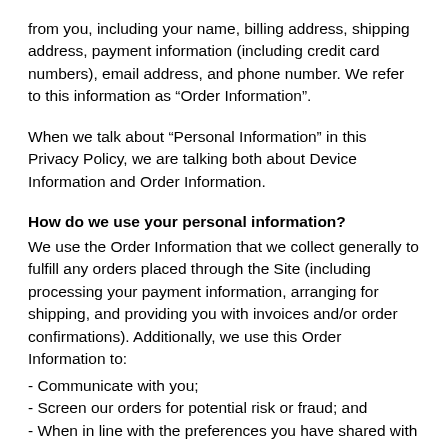from you, including your name, billing address, shipping address, payment information (including credit card numbers), email address, and phone number. We refer to this information as “Order Information”.
When we talk about “Personal Information” in this Privacy Policy, we are talking both about Device Information and Order Information.
How do we use your personal information?
We use the Order Information that we collect generally to fulfill any orders placed through the Site (including processing your payment information, arranging for shipping, and providing you with invoices and/or order confirmations). Additionally, we use this Order Information to:
- Communicate with you;
- Screen our orders for potential risk or fraud; and
- When in line with the preferences you have shared with